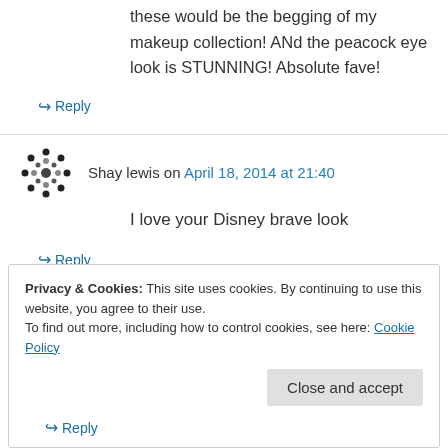these would be the begging of my makeup collection! ANd the peacock eye look is STUNNING! Absolute fave!
↪ Reply
Shay lewis on April 18, 2014 at 21:40
I love your Disney brave look
↪ Reply
Privacy & Cookies: This site uses cookies. By continuing to use this website, you agree to their use. To find out more, including how to control cookies, see here: Cookie Policy
Close and accept
↪ Reply